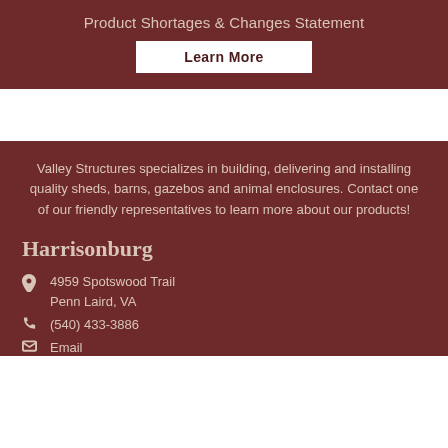Product Shortages & Changes Statement
Learn More
Valley Structures specializes in building, delivering and installing quality sheds, barns, gazebos and animal enclosures. Contact one of our friendly representatives to learn more about our products!
Harrisonburg
4959 Spotswood Trail
Penn Laird, VA
(540) 433-3886
Email